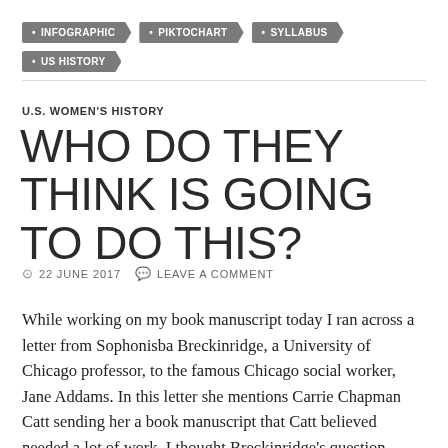INFOGRAPHIC • PIKTOCHART • SYLLABUS • US HISTORY
U.S. WOMEN'S HISTORY
WHO DO THEY THINK IS GOING TO DO THIS?
22 JUNE 2017  LEAVE A COMMENT
While working on my book manuscript today I ran across a letter from Sophonisba Breckinridge, a University of Chicago professor, to the famous Chicago social worker, Jane Addams. In this letter she mentions Carrie Chapman Catt sending her a book manuscript that Catt believed needed a lot of work.  I thought Breckinridge's question, "Who do they think is going